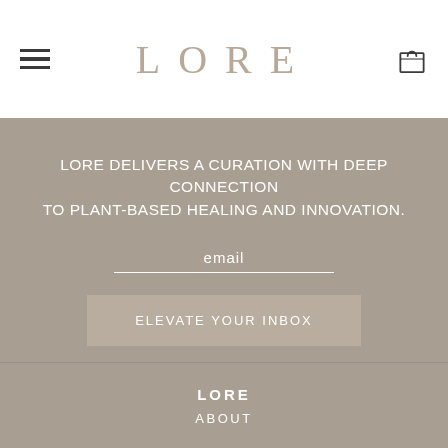LORE
LORE DELIVERS A CURATION WITH DEEP CONNECTION TO PLANT-BASED HEALING AND INNOVATION.
email
ELEVATE YOUR INBOX
LORE
ABOUT